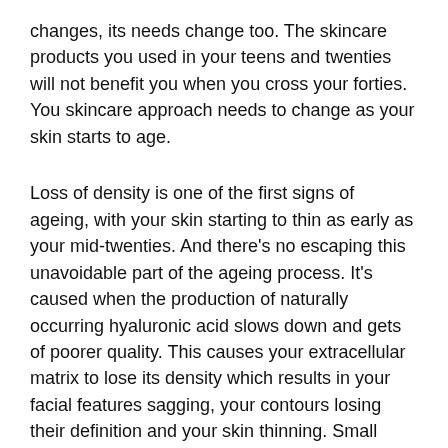changes, its needs change too. The skincare products you used in your teens and twenties will not benefit you when you cross your forties. You skincare approach needs to change as your skin starts to age.
Loss of density is one of the first signs of ageing, with your skin starting to thin as early as your mid-twenties. And there's no escaping this unavoidable part of the ageing process. It's caused when the production of naturally occurring hyaluronic acid slows down and gets of poorer quality. This causes your extracellular matrix to lose its density which results in your facial features sagging, your contours losing their definition and your skin thinning. Small veins can also become visible.
Between the ages of 30 and 80, skin cell regeneration slows by 50 percent, meaning the skin loses its ability. The